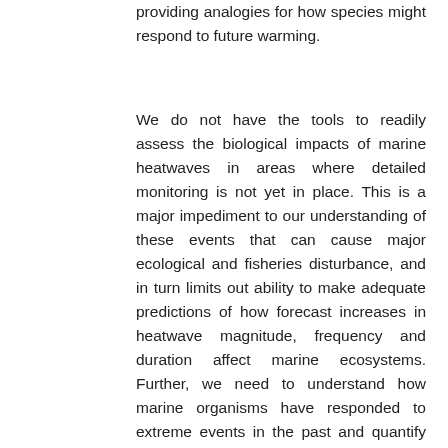providing analogies for how species might respond to future warming.
We do not have the tools to readily assess the biological impacts of marine heatwaves in areas where detailed monitoring is not yet in place. This is a major impediment to our understanding of these events that can cause major ecological and fisheries disturbance, and in turn limits out ability to make adequate predictions of how forecast increases in heatwave magnitude, frequency and duration affect marine ecosystems. Further, we need to understand how marine organisms have responded to extreme events in the past and quantify their capacity to adequately respond in the future if we are to ensure our predictions are meaningful. Here, we are employing two highly innovative techniques using information stored in otoliths to estimate levels of thermal tolerance and behavioural plasticity within and among individuals and populations, and assess whether there is adequate adaptive capacity to deal